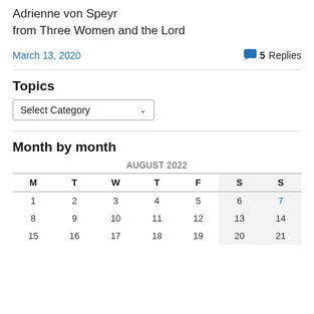Adrienne von Speyr
from Three Women and the Lord
March 13, 2020
5 Replies
Topics
Select Category
Month by month
| M | T | W | T | F | S | S |
| --- | --- | --- | --- | --- | --- | --- |
| 1 | 2 | 3 | 4 | 5 | 6 | 7 |
| 8 | 9 | 10 | 11 | 12 | 13 | 14 |
| 15 | 16 | 17 | 18 | 19 | 20 | 21 |